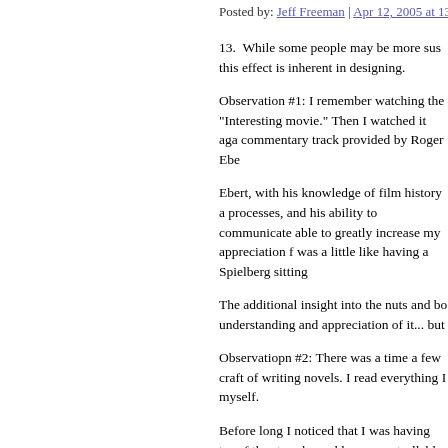Posted by: Jeff Freeman | Apr 12, 2005 at 13:33
13.  While some people may be more sus this effect is inherent in designing.
Observation #1: I remember watching the "Interesting movie." Then I watched it aga commentary track provided by Roger Ebe
Ebert, with his knowledge of film history a processes, and his ability to communicate able to greatly increase my appreciation f was a little like having a Spielberg sitting
The additional insight into the nuts and bo understanding and appreciation of it... but
Observatiopn #2: There was a time a few craft of writing novels. I read everything I myself.
Before long I noticed that I was having tro of the story by sudden, uncontrollable obs find myself thinking, "How could this have positive; I'd perceive some clever stylistic better... if only I'd been able to enjoy it as
Which leads me to wonder whether mayb aesthetic experiences of art. On the one